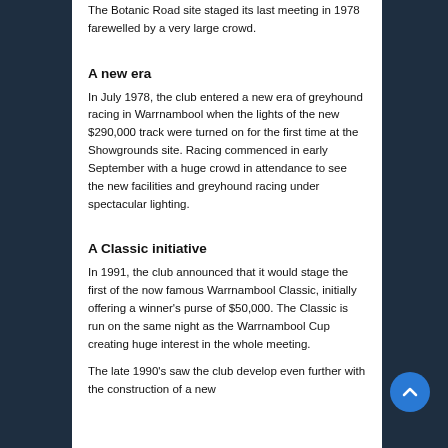The Botanic Road site staged its last meeting in 1978 farewelled by a very large crowd.
A new era
In July 1978, the club entered a new era of greyhound racing in Warrnambool when the lights of the new $290,000 track were turned on for the first time at the Showgrounds site. Racing commenced in early September with a huge crowd in attendance to see the new facilities and greyhound racing under spectacular lighting.
A Classic initiative
In 1991, the club announced that it would stage the first of the now famous Warrnambool Classic, initially offering a winner's purse of $50,000. The Classic is run on the same night as the Warrnambool Cup creating huge interest in the whole meeting.
The late 1990's saw the club develop even further with the construction of a new